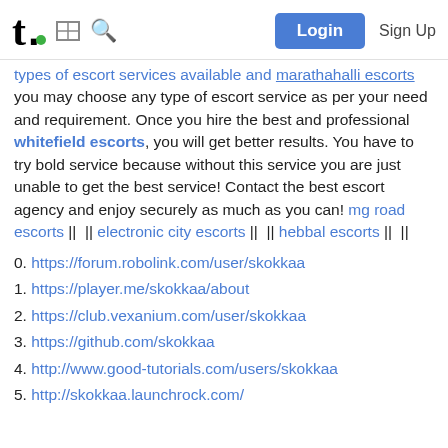t. [grid icon] [search icon] Login Sign Up
types of escort services available and marathahalli escorts you may choose any type of escort service as per your need and requirement. Once you hire the best and professional whitefield escorts, you will get better results. You have to try bold service because without this service you are just unable to get the best service! Contact the best escort agency and enjoy securely as much as you can! mg road escorts || || electronic city escorts || || hebbal escorts || ||
0. https://forum.robolink.com/user/skokkaa
1. https://player.me/skokkaa/about
2. https://club.vexanium.com/user/skokkaa
3. https://github.com/skokkaa
4. http://www.good-tutorials.com/users/skokkaa
5. http://skokkaa.launchrock.com/